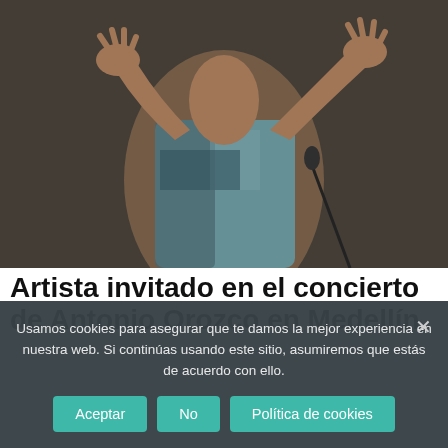[Figure (photo): A performer on stage with arms raised and hands spread open, wearing a colorful short-sleeve shirt, with a microphone stand visible in background]
Artista invitado en el concierto de Antonio Orozco en Medellín
Usamos cookies para asegurar que te damos la mejor experiencia en nuestra web. Si continúas usando este sitio, asumiremos que estás de acuerdo con ello.